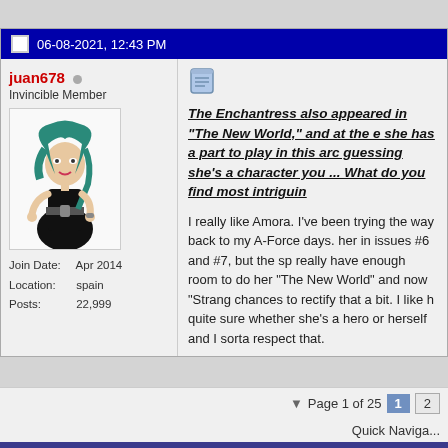06-08-2021, 12:43 PM
juan678
Invincible Member
Join Date: Apr 2014
Location: spain
Posts: 22,999
[Figure (illustration): Avatar illustration of a woman with teal/green hair wearing a black outfit]
The Enchantress also appeared in "The New World," and at the end she has a part to play in this arc... guessing she's a character you ... What do you find most intriguin...

I really like Amora. I've been trying the way back to my A-Force days. her in issues #6 and #7, but the sp really have enough room to do her "The New World" and now "Strang chances to rectify that a bit. I like h quite sure whether she's a hero or herself and I sorta respect that.
Page 1 of 25  1  2  Quick Naviga...